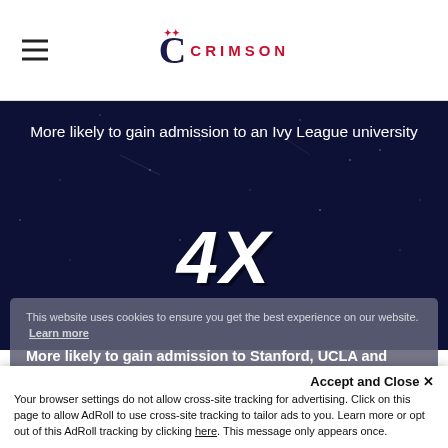Crimson Education logo and navigation
More likely to gain admission to an Ivy League university
4X
More likely to gain admission to Stanford, UCLA and Northwestern.
This website uses cookies to ensure you get the best experience on our website. Learn more
Accept and Close ✕ Your browser settings do not allow cross-site tracking for advertising. Click on this page to allow AdRoll to use cross-site tracking to tailor ads to you. Learn more or opt out of this AdRoll tracking by clicking here. This message only appears once.